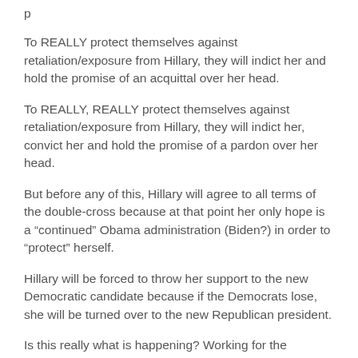To REALLY protect themselves against retaliation/exposure from Hillary, they will indict her and hold the promise of an acquittal over her head.
To REALLY, REALLY protect themselves against retaliation/exposure from Hillary, they will indict her, convict her and hold the promise of a pardon over her head.
But before any of this, Hillary will agree to all terms of the double-cross because at that point her only hope is a “continued” Obama administration (Biden?) in order to “protect” herself.
Hillary will be forced to throw her support to the new Democratic candidate because if the Democrats lose, she will be turned over to the new Republican president.
Is this really what is happening? Working for the government I learned one thing: You never know the real “why” something is happening; and when you think you finally know the real “why”, you don’t.